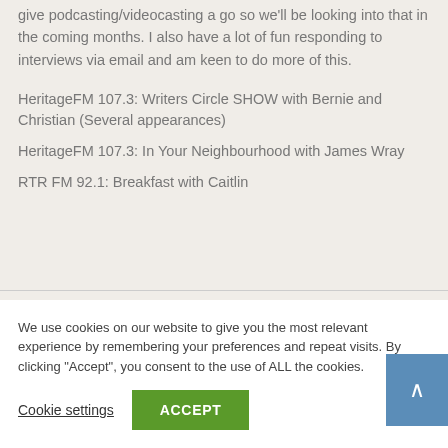give podcasting/videocasting a go so we'll be looking into that in the coming months. I also have a lot of fun responding to interviews via email and am keen to do more of this.
HeritageFM 107.3: Writers Circle SHOW with Bernie and Christian (Several appearances)
HeritageFM 107.3: In Your Neighbourhood with James Wray
RTR FM 92.1: Breakfast with Caitlin
We use cookies on our website to give you the most relevant experience by remembering your preferences and repeat visits. By clicking "Accept", you consent to the use of ALL the cookies.
Cookie settings  ACCEPT